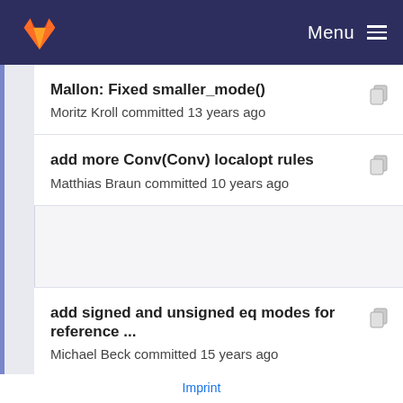Menu
Mallon: Fixed smaller_mode()
Moritz Kroll committed 13 years ago
add more Conv(Conv) localopt rules
Matthias Braun committed 10 years ago
add signed and unsigned eq modes for reference ...
Michael Beck committed 15 years ago
Imprint